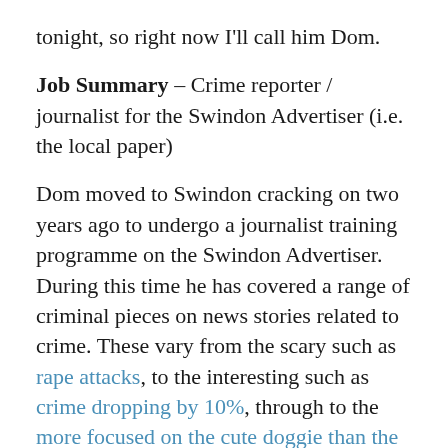tonight, so right now I'll call him Dom.
Job Summary – Crime reporter / journalist for the Swindon Advertiser (i.e. the local paper)
Dom moved to Swindon cracking on two years ago to undergo a journalist training programme on the Swindon Advertiser. During this time he has covered a range of criminal pieces on news stories related to crime. These vary from the scary such as rape attacks, to the interesting such as crime dropping by 10%, through to the more focused on the cute doggie than the crime and I know it's serious, but part of me finds it amusing stories of Swindon. If you sneeze at 2am on double yellow lines you can be fairly sure Dom will be reporting on it in